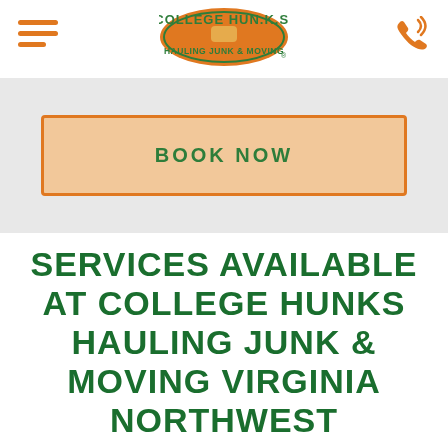[Figure (logo): College HUNKS Hauling Junk & Moving logo — oval orange background with green text]
BOOK NOW
SERVICES AVAILABLE AT COLLEGE HUNKS HAULING JUNK & MOVING VIRGINIA NORTHWEST